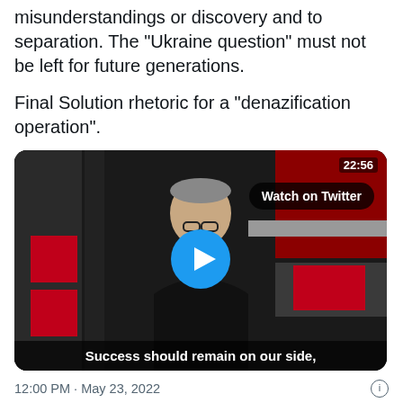misunderstandings or discovery and to separation. The "Ukraine question" must not be left for future generations.
Final Solution rhetoric for a "denazification operation".
[Figure (screenshot): Video thumbnail showing a man in dark clothing speaking at a TV studio with red background. Timestamp 22:56 in top right. 'Watch on Twitter' button visible. Play button overlay in center. Subtitle at bottom reads 'Success should remain on our side,']
12:00 PM · May 23, 2022
8  Reply  Copy link
Read 1 reply